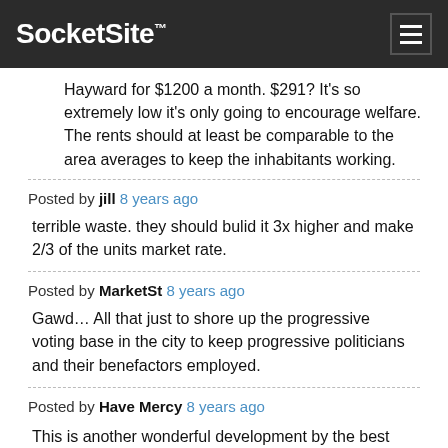SocketSite™
Hayward for $1200 a month. $291? It's so extremely low it's only going to encourage welfare. The rents should at least be comparable to the area averages to keep the inhabitants working.
Posted by jill 8 years ago
terrible waste. they should bulid it 3x higher and make 2/3 of the units market rate.
Posted by MarketSt 8 years ago
Gawd… All that just to shore up the progressive voting base in the city to keep progressive politicians and their benefactors employed.
Posted by Have Mercy 8 years ago
This is another wonderful development by the best below market developer on the planet. How shameful of all of you to decry its cost. The people who will live there deserve decent housing in decent neighborhoods. The cost of construction is what it is, get over your bigotry against poor people and be glad so many people will benefit from it. It will be great for the neighborhood, everyone building it, and everyone living in it. Mercy Housing is building it, so